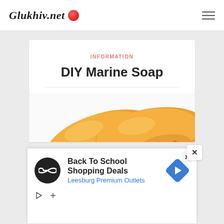Glukhiv.net
INFORMATION
DIY Marine Soap
[Figure (photo): Close-up photo of two orange papaya fruits with smooth skin against a white background]
[Figure (screenshot): Advertisement banner: Back To School Shopping Deals - Leesburg Premium Outlets, with circular logo and blue diamond arrow icon]